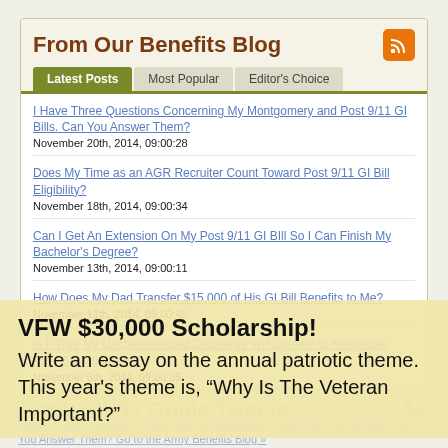From Our Benefits Blog
Latest Posts | Most Popular | Editor's Choice
I Have Three Questions Concerning My Montgomery and Post 9/11 GI Bills. Can You Answer Them?
November 20th, 2014, 09:00:28
Does My Time as an AGR Recruiter Count Toward Post 9/11 GI Bill Eligibility?
November 18th, 2014, 09:00:34
Can I Get An Extension On My Post 9/11 GI BIll So I Can Finish My Bachelor's Degree?
November 13th, 2014, 09:00:11
How Does My Dad Transfer $15,000 of His GI Bill Benefits to Me?
November 11th, 2014, 09:00:45
Is It True My Uncharacterized Discharge Will Convert to Honorable After Six Months?
November 6th, 2014, 09:00:05
VFW $30,000 Scholarship!
Write an essay on the annual patriotic theme. This year's theme is, “Why Is The Veteran Important?”
Army Study Guide Tweets
I Have Three Questions Concerning My Montgomery and Post 9/11 GI Bills. Can You Answer Them? Go to the Army Benefits Blog »